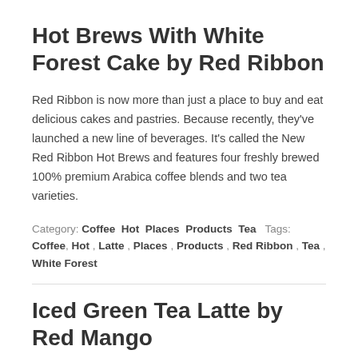Hot Brews With White Forest Cake by Red Ribbon
Red Ribbon is now more than just a place to buy and eat delicious cakes and pastries. Because recently, they've launched a new line of beverages. It's called the New Red Ribbon Hot Brews and features four freshly brewed 100% premium Arabica coffee blends and two tea varieties.
Category: Coffee Hot Places Products Tea Tags: Coffee, Hot, Latte, Places, Products, Red Ribbon, Tea, White Forest
Iced Green Tea Latte by Red Mango
If you've been to Red Mango, then you probably know that